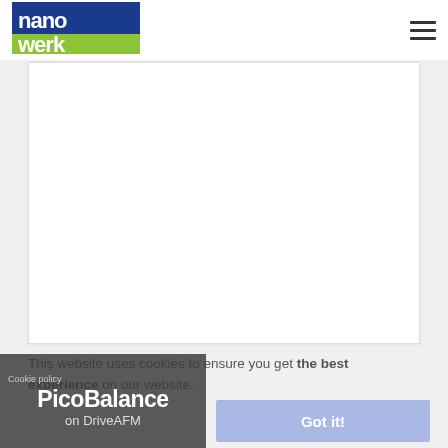nanowerk
[Figure (other): White content area box placeholder]
This website uses cookies to ensure you get the best experience on our website.
[Figure (photo): PicoBalance on DriveAFM overlay with dark semi-transparent background showing product name]
Got it!